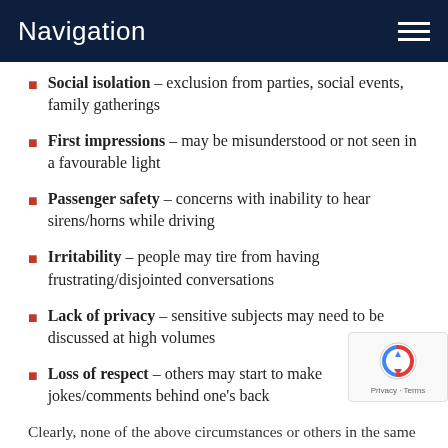Navigation
Social isolation – exclusion from parties, social events, family gatherings
First impressions – may be misunderstood or not seen in a favourable light
Passenger safety – concerns with inability to hear sirens/horns while driving
Irritability – people may tire from having frustrating/disjointed conversations
Lack of privacy – sensitive subjects may need to be discussed at high volumes
Loss of respect – others may start to make jokes/comments behind one's back
Clearly, none of the above circumstances or others in the same